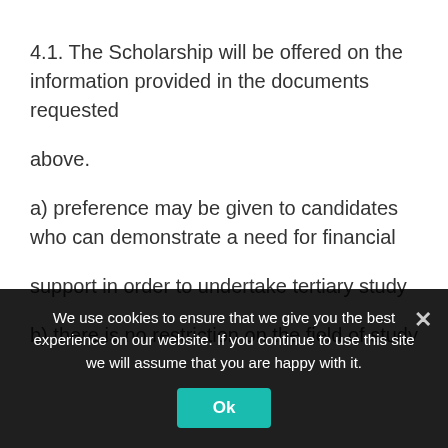4.1. The Scholarship will be offered on the information provided in the documents requested

above.

a) preference may be given to candidates who can demonstrate a need for financial

support in order to undertake tertiary study

b) there is no restriction on the field of study but preference may be given to candidates
We use cookies to ensure that we give you the best experience on our website. If you continue to use this site we will assume that you are happy with it.